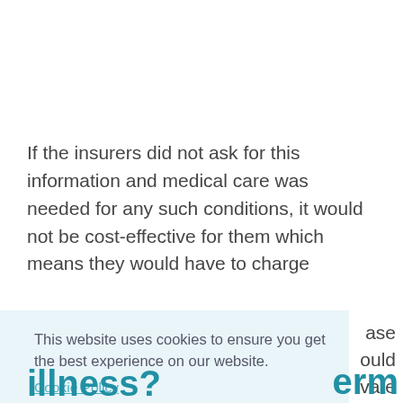If the insurers did not ask for this information and medical care was needed for any such conditions, it would not be cost-effective for them which means they would have to charge [...]ase [...]ould [...]vate [...]e
This website uses cookies to ensure you get the best experience on our website.
Cookie Policy
Got it!
...erm
illness?